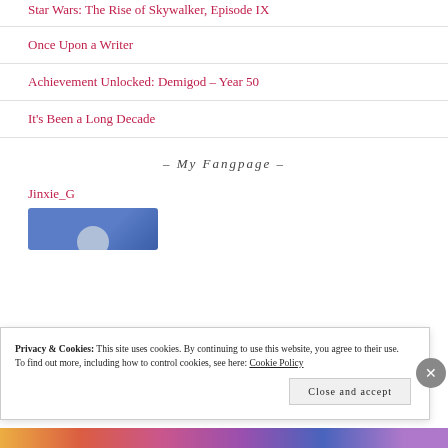Star Wars: The Rise of Skywalker, Episode IX
Once Upon a Writer
Achievement Unlocked: Demigod – Year 50
It's Been a Long Decade
– My Fangpage –
Jinxie_G
[Figure (screenshot): Blurred/redacted Facebook profile image with blue header and partial profile circle]
Privacy & Cookies: This site uses cookies. By continuing to use this website, you agree to their use.
To find out more, including how to control cookies, see here: Cookie Policy
Close and accept